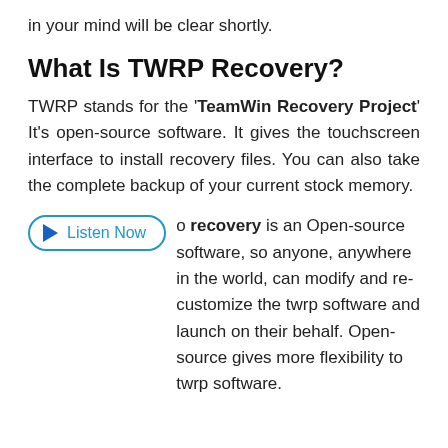in your mind will be clear shortly.
What Is TWRP Recovery?
TWRP stands for the 'TeamWin Recovery Project' It's open-source software. It gives the touchscreen interface to install recovery files. You can also take the complete backup of your current stock memory.
[Figure (other): Listen Now button with play icon, teal/blue rounded pill border]
o recovery is an Open-source software, so anyone, anywhere in the world, can modify and re-customize the twrp software and launch on their behalf. Open-source gives more flexibility to twrp software.